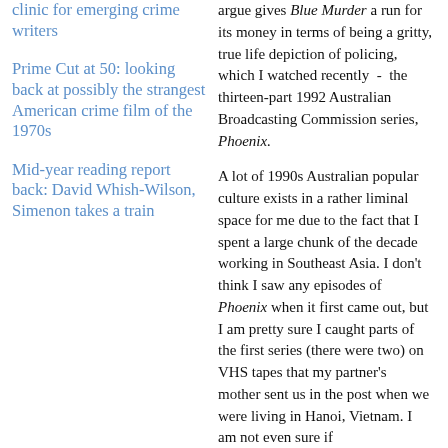clinic for emerging crime writers
Prime Cut at 50: looking back at possibly the strangest American crime film of the 1970s
Mid-year reading report back: David Whish-Wilson, Simenon takes a train
argue gives Blue Murder a run for its money in terms of being a gritty, true life depiction of policing, which I watched recently - the thirteen-part 1992 Australian Broadcasting Commission series, Phoenix.
A lot of 1990s Australian popular culture exists in a rather liminal space for me due to the fact that I spent a large chunk of the decade working in Southeast Asia. I don't think I saw any episodes of Phoenix when it first came out, but I am pretty sure I caught parts of the first series (there were two) on VHS tapes that my partner's mother sent us in the post when we were living in Hanoi, Vietnam. I am not even sure if Phoenix has come out on DVD...